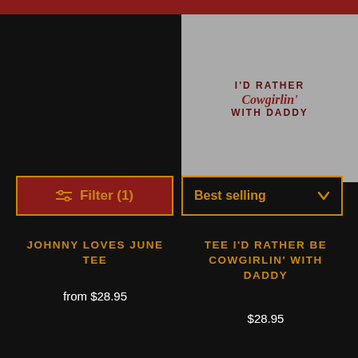[Figure (screenshot): Filter button with dark red background and orange border, showing sliders icon and text 'Filter (1)']
[Figure (screenshot): Sort dropdown button with 'Best selling' text and chevron arrow, black background with orange border]
[Figure (photo): T-shirt product photo showing text 'I'D RATHER BE Cowgirlin' WITH DADDY' on an orange/salmon colored shirt]
JOHNNY LOVES JUNE TEE
from $28.95
TEE I'D RATHER BE COWGIRLIN' WITH DADDY
$28.95